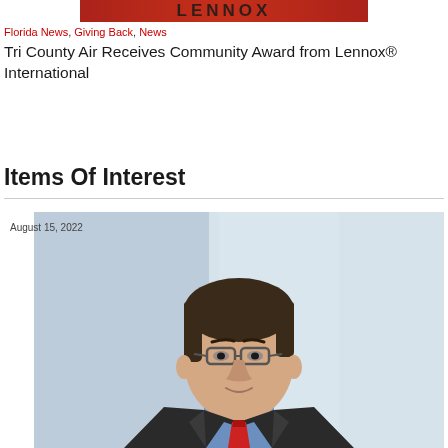[Figure (logo): Lennox brand logo banner at the top of the page, red and dark stylized text on red/orange background]
Florida News, Giving Back, News
Tri County Air Receives Community Award from Lennox® International
Items Of Interest
August 15, 2022
[Figure (photo): Professional headshot of a man with dark hair wearing glasses, a dark suit jacket, blue dress shirt, and red tie, against a light blue/grey background]